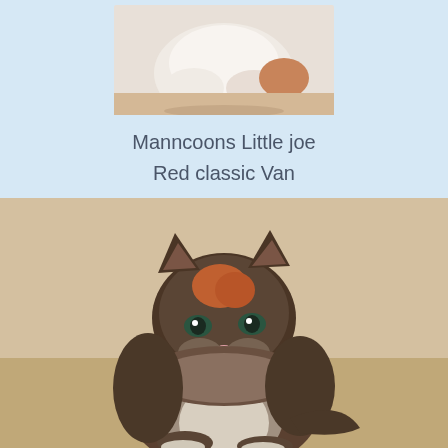[Figure (photo): Top portion of a white/light-colored kitten or cat on a beige/tan surface, partially cropped]
Manncoons Little joe
Red classic Van
[Figure (photo): A fluffy Maine Coon kitten with brown/grey tabby and orange/red coloring, sitting upright on a beige surface, looking at the camera]